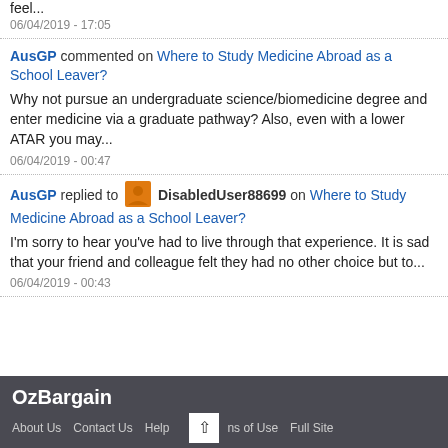feel...
06/04/2019 - 17:05
AusGP commented on Where to Study Medicine Abroad as a School Leaver?
Why not pursue an undergraduate science/biomedicine degree and enter medicine via a graduate pathway? Also, even with a lower ATAR you may...
06/04/2019 - 00:47
AusGP replied to DisabledUser88699 on Where to Study Medicine Abroad as a School Leaver?
I'm sorry to hear you've had to live through that experience. It is sad that your friend and colleague felt they had no other choice but to...
06/04/2019 - 00:43
OzBargain  About Us  Contact Us  Help  Terms of Use  Full Site